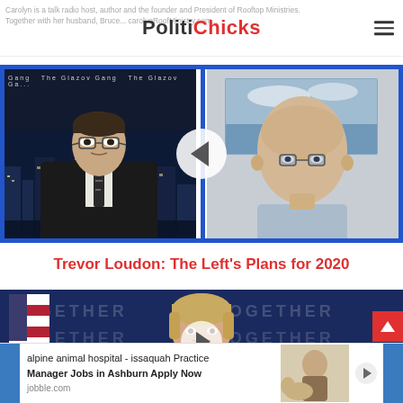Carolyn is a talk radio host, author and the founder and President of Rooftop Ministries. Together with her husband, Bruce... carolynroofministry.com
[Figure (screenshot): Video thumbnail showing The Glazov Gang split-screen: left side shows a man in suit and tie with city skyline background, right side shows a bald man in light blue shirt with framed painting background. A left-pointing chevron play button overlay is centered.]
Trevor Loudon: The Left's Plans for 2020
[Figure (screenshot): Video thumbnail of a woman with short blonde hair in front of a blue background with 'TOGETHER' text and American flag. A right-pointing chevron play button overlay is centered.]
[Figure (other): Advertisement banner: alpine animal hospital - issaquah Practice Manager Jobs in Ashburn Apply Now jobble.com, with image of person with dog/animal]